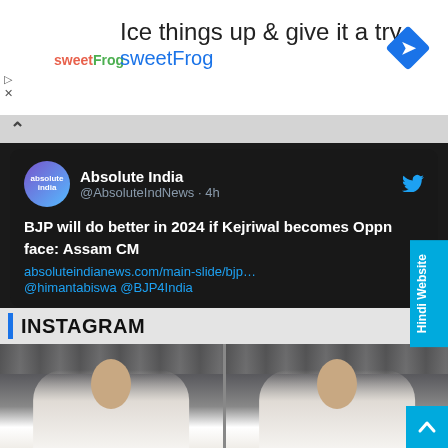[Figure (screenshot): SweetFrog advertisement banner with logo, headline 'Ice things up & give it a try', subtext 'sweetFrog', and blue diamond arrow icon]
[Figure (screenshot): Tweet by Absolute India (@AbsoluteIndNews · 4h): BJP will do better in 2024 if Kejriwal becomes Oppn face: Assam CM with link absoluteindianews.com/main-slide/bjp... @himantabiswa @BJP4India]
INSTAGRAM
[Figure (photo): Instagram photo strip showing a woman in white t-shirt at an airport, shown twice side by side]